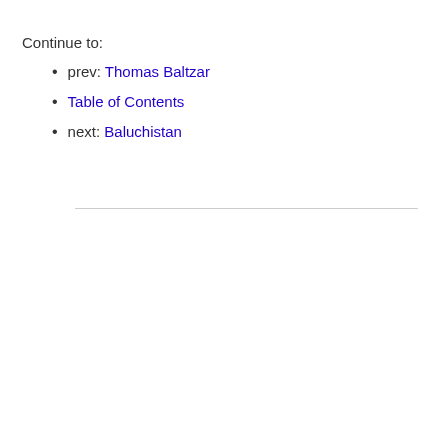Continue to:
prev: Thomas Baltzar
Table of Contents
next: Baluchistan